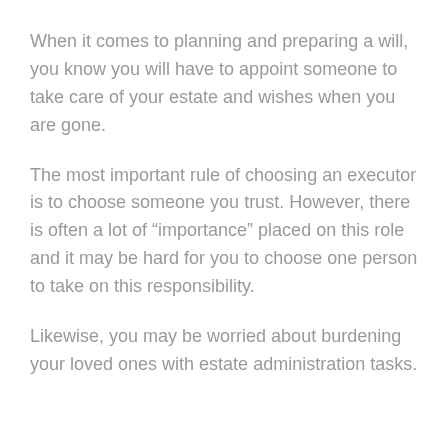When it comes to planning and preparing a will, you know you will have to appoint someone to take care of your estate and wishes when you are gone.
The most important rule of choosing an executor is to choose someone you trust. However, there is often a lot of “importance” placed on this role and it may be hard for you to choose one person to take on this responsibility.
Likewise, you may be worried about burdening your loved ones with estate administration tasks.